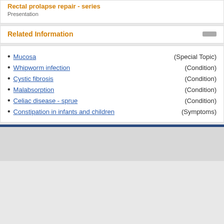Rectal prolapse repair - series
Presentation
Related Information
Mucosa (Special Topic)
Whipworm infection (Condition)
Cystic fibrosis (Condition)
Malabsorption (Condition)
Celiac disease - sprue (Condition)
Constipation in infants and children (Symptoms)